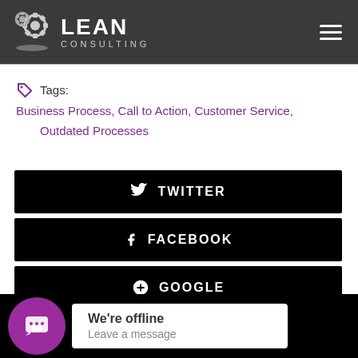LEAN CONSULTING
Tags: Business Process, Call to Action, Customer Service, Outdated Processes
TWITTER
FACEBOOK
GOOGLE
We're offline
Leave a message